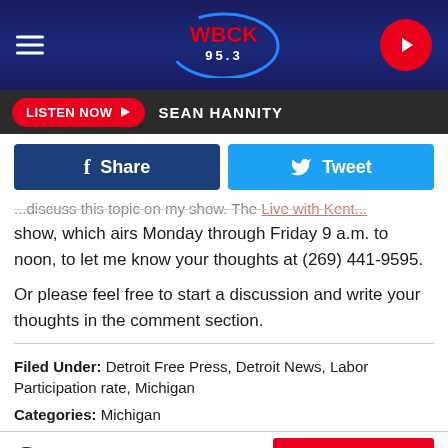[Figure (screenshot): WBCK 95.3 radio station website header with logo, hamburger menu, and play button]
LISTEN NOW ▶  SEAN HANNITY
Share  Tweet
...discuss this topic on my show. The Live with Kent... show, which airs Monday through Friday 9 a.m. to noon, to let me know your thoughts at (269) 441-9595.
Or please feel free to start a discussion and write your thoughts in the comment section.
Filed Under: Detroit Free Press, Detroit News, Labor Participation rate, Michigan
Categories: Michigan
Comments